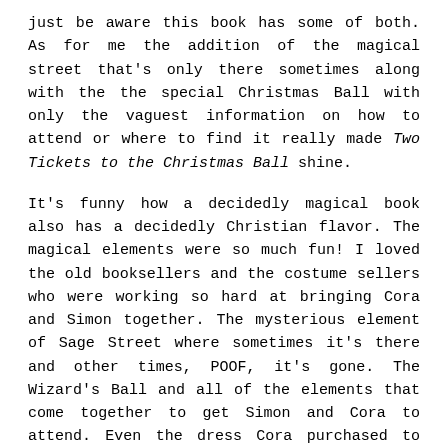just be aware this book has some of both. As for me the addition of the magical street that's only there sometimes along with the the special Christmas Ball with only the vaguest information on how to attend or where to find it really made Two Tickets to the Christmas Ball shine.
It's funny how a decidedly magical book also has a decidedly Christian flavor. The magical elements were so much fun! I loved the old booksellers and the costume sellers who were working so hard at bringing Cora and Simon together. The mysterious element of Sage Street where sometimes it's there and other times, POOF, it's gone. The Wizard's Ball and all of the elements that come together to get Simon and Cora to attend. Even the dress Cora purchased to wear that literally disintegrated off someone else who was not intended to wear it. It was all so magical! Like reading a mellower version of Harry Potter.
And then you have Christian faith. Every character in this book except for Cora's family is a Christian. Cora's family ostracized her for getting uppity when she became a Christian so now she's trying to find her way, make her own traditions, celebrate Christmas the way Christ would have her celebrate it. That's all